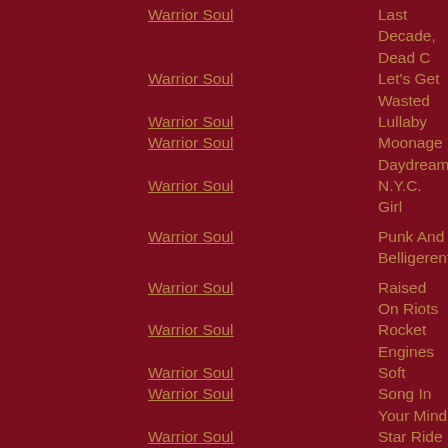Warrior Soul | Last Decade, Dead C
Warrior Soul | Let's Get Wasted
Warrior Soul | Lullaby
Warrior Soul | Moonage Daydream
Warrior Soul | N.Y.C. Girl
Warrior Soul | Punk And Belligerent
Warrior Soul | Raised On Riots
Warrior Soul | Rocket Engines
Warrior Soul | Soft
Warrior Soul | Song In Your Mind
Warrior Soul | Star Ride
Warrior Soul | The Losers
Warrior Soul | The Party
Warrior Soul | The Wasteland
Warrior Soul | Trippin' On Ecstacy
Dionne Warwick | Walk On By
... | Don't Forget The...